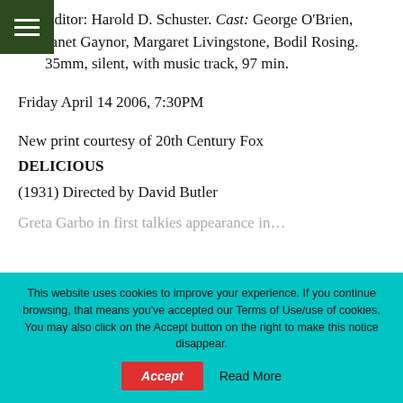Editor: Harold D. Schuster. Cast: George O'Brien, Janet Gaynor, Margaret Livingstone, Bodil Rosing. 35mm, silent, with music track, 97 min.
Friday April 14 2006, 7:30PM
New print courtesy of 20th Century Fox
DELICIOUS
(1931) Directed by David Butler
This website uses cookies to improve your experience. If you continue browsing, that means you've accepted our Terms of Use/use of cookies. You may also click on the Accept button on the right to make this notice disappear.